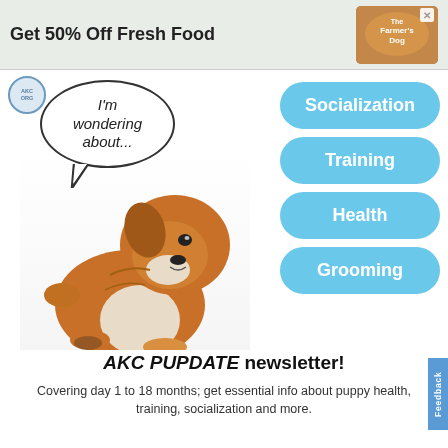[Figure (photo): Advertisement banner: Get 50% Off Fresh Food with The Farmer's Dog logo]
[Figure (photo): English Bulldog puppy sitting and looking up, with speech bubble saying I'm wondering about...]
Socialization
Training
Health
Grooming
AKC PUPDATE newsletter!
Covering day 1 to 18 months; get essential info about puppy health, training, socialization and more.